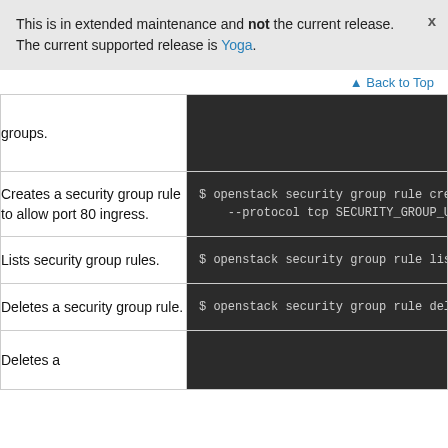This is in extended maintenance and not the current release. The current supported release is Yoga.
Back to Top
| Description | Command |
| --- | --- |
| groups. | $ openstack security group rule create --i
    --protocol tcp SECURITY_GROUP_UUID |
| Creates a security group rule to allow port 80 ingress. | $ openstack security group rule create --i
    --protocol tcp SECURITY_GROUP_UUID |
| Lists security group rules. | $ openstack security group rule list |
| Deletes a security group rule. | $ openstack security group rule delete SEC |
| Deletes a |  |